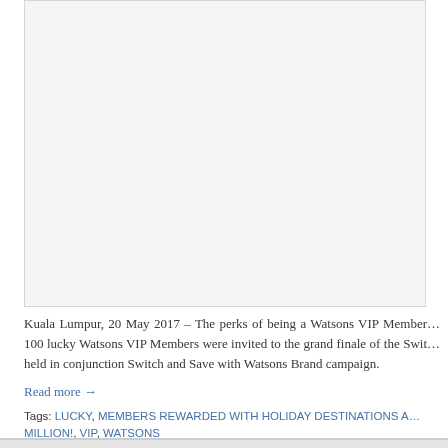[Figure (photo): Image placeholder area at top of page, light gray background]
Kuala Lumpur, 20 May 2017 – The perks of being a Watsons VIP Member… 100 lucky Watsons VIP Members were invited to the grand finale of the Swit… held in conjunction Switch and Save with Watsons Brand campaign.
Read more →
Tags: LUCKY, MEMBERS REWARDED WITH HOLIDAY DESTINATIONS A… MILLION!, VIP, WATSONS
1  2  ...  7  →
Pages
Hubungi Kami
Recent Posts
(SEMASA) TOURISM… STEAK HUB MEMAC… PATRIOTISME DENG…